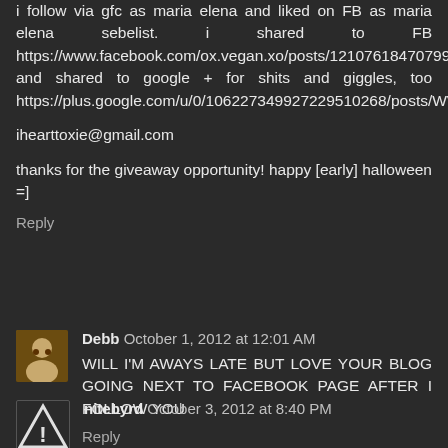I follow via gfc as maria elena and liked on FB as maria elena sebelist. i shared to FB https://www.facebook.com/ox.vegan.xo/posts/121076184707991 and shared to google + for shits and giggles, too https://plus.google.com/u/0/106227349927229510268/posts/WV1uXpAVKk4
ihearttoxie@gmail.com
thanks for the giveaway opportunity! happy [early] halloween =]
Reply
Debb October 1, 2012 at 12:01 AM
WILL I'M AWAYS LATE BUT LOVE YOUR BLOG GOING NEXT TO FACEBOOK PAGE AFTER I FOLLOW YOU
Reply
nitebyrd October 3, 2012 at 8:40 PM